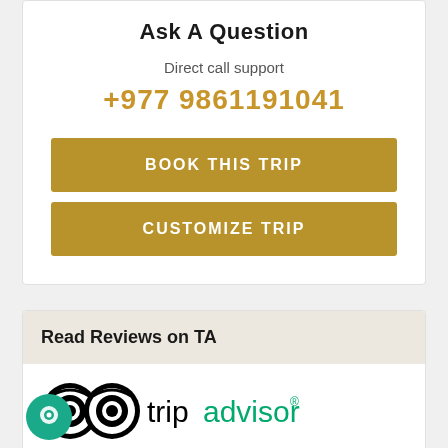Ask A Question
Direct call support
+977 9861191041
BOOK THIS TRIP
CUSTOMIZE TRIP
Read Reviews on TA
[Figure (logo): TripAdvisor logo with owl eyes icon and tripadvisor text in black and green]